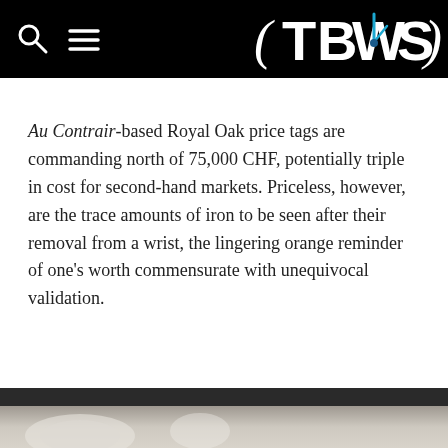TBWS
Au Contrair-based Royal Oak price tags are commanding north of 75,000 CHF, potentially triple in cost for second-hand markets. Priceless, however, are the trace amounts of iron to be seen after their removal from a wrist, the lingering orange reminder of one’s worth commensurate with unequivocal validation.
[Figure (photo): Bottom portion of page showing a blurred watch photograph on a light beige/cream surface]